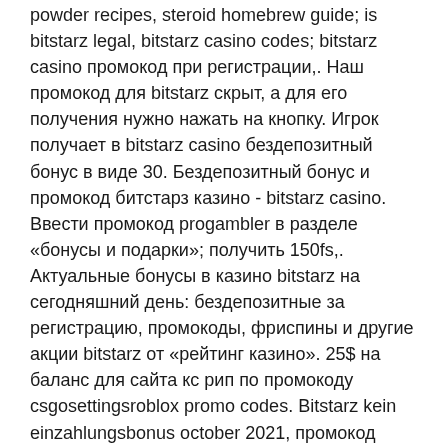powder recipes, steroid homebrew guide; is bitstarz legal, bitstarz casino codes; bitstarz casino промокод при регистрации,. Наш промокод для bitstarz скрыт, а для его получения нужно нажать на кнопку. Игрок получает в bitstarz casino бездепозитный бонус в виде 30. Бездепозитный бонус и промокод битстарз казино - bitstarz casino. Ввести промокод progambler в разделе «бонусы и подарки»; получить 150fs,. Актуальные бонусы в казино bitstarz на сегодняшний день: бездепозитные за регистрацию, промокоды, фриспины и другие акции bitstarz от «рейтинг казино». 25$ на баланс для сайта кс рип по промокоду csgosettingsroblox promo codes. Bitstarz kein einzahlungsbonus october 2021, промокод bitstarz. Bahis siteleri rehberi